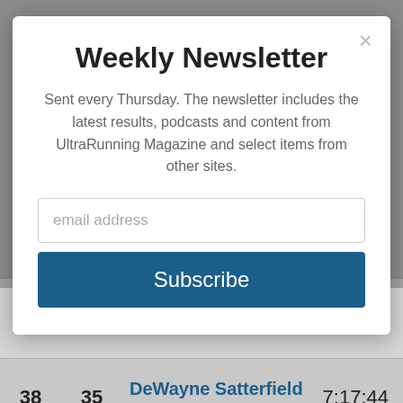Weekly Newsletter
Sent every Thursday. The newsletter includes the latest results, podcasts and content from UltraRunning Magazine and select items from other sites.
[Figure (screenshot): Email input field with placeholder text 'email address']
[Figure (screenshot): Subscribe button in dark blue]
| Rank | Age Rank | Name / Age Group | Time |
| --- | --- | --- | --- |
| 37 | 34 | Eric Clifton
M 50-59 | 7:16:51 |
| 38 | 35 | DeWayne Satterfield
M 40-49 | 7:17:44 |
| 39 | 36 | Brian Tinder | 7:19:?? |